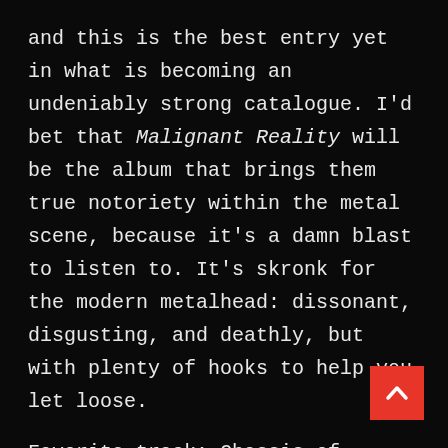and this is the best entry yet in what is becoming an undeniably strong catalogue. I'd bet that Malignant Reality will be the album that brings them true notoriety within the metal scene, because it's a damn blast to listen to. It's skronk for the modern metalhead: dissonant, disgusting, and deathly, but with plenty of hooks to help you let loose.
Favorite track: Chassis of Deceit
Score: 9/10
Share this: